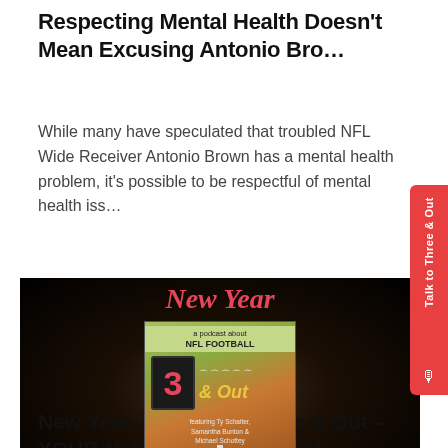Respecting Mental Health Doesn't Mean Excusing Antonio Bro…
While many have speculated that troubled NFL Wide Receiver Antonio Brown has a mental health problem, it's possible to be respectful of mental health iss…
[Figure (other): Podcast promotional image for 'Three & Out – a podcast about NFL FOOTBALL' showing New Year New Pod graphic with down marker showing number 3, football, and text featuring Ty Schalter, Samantha Bunton & Michael Schottey on a dark background]
New Year, New Pod | Three & Out – YOUR National NFL Podcast